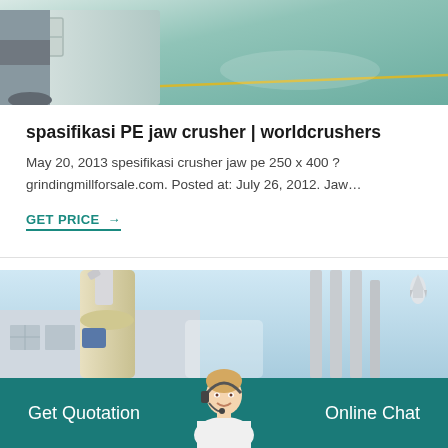[Figure (photo): Industrial machinery in a factory floor with green-tinted concrete floor and white equipment]
spasifikasi PE jaw crusher | worldcrushers
May 20, 2013 spesifikasi crusher jaw pe 250 x 400 ? grindingmillforsale.com. Posted at: July 26, 2012. Jaw…
GET PRICE →
[Figure (photo): Industrial grinding mill equipment outdoors with pipes and building in background, customer service representative with headset overlay]
Get Quotation    Online Chat